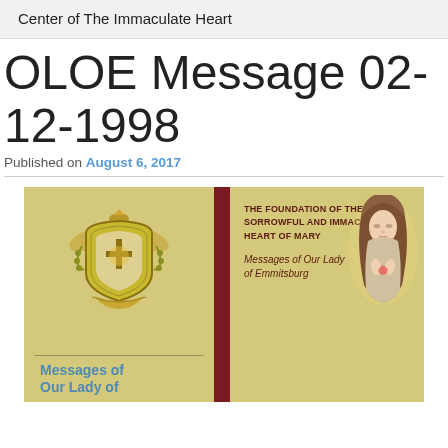Center of The Immaculate Heart
OLOE Message 02-12-1998
Published on August 6, 2017
[Figure (illustration): Book cover for 'The Foundation of the Sorrowful and Immaculate Heart of Mary — Messages of Our Lady of Emmitsburg'. Tan/gold background with a heraldic crest/shield on the left, a dark red vertical bar divider, text and an illustration of the Virgin Mary on the right. Bottom of left panel shows a link 'Messages of Our Lady of...' in blue.]